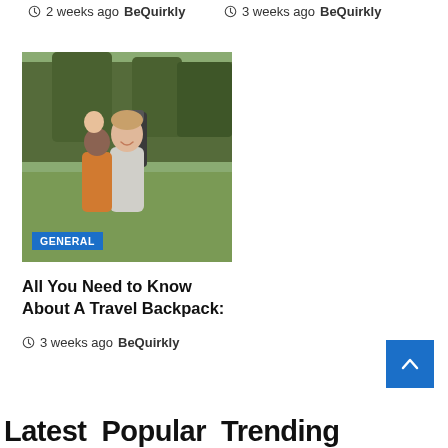2 weeks ago  BeQuirkly
3 weeks ago  BeQuirkly
[Figure (photo): Three hikers outdoors — a woman in foreground with backpack smiling, a man behind carrying a child on his shoulders, green trees in background. GENERAL badge overlay at bottom left.]
All You Need to Know About A Travel Backpack:
3 weeks ago  BeQuirkly
Latest  Popular  Trending